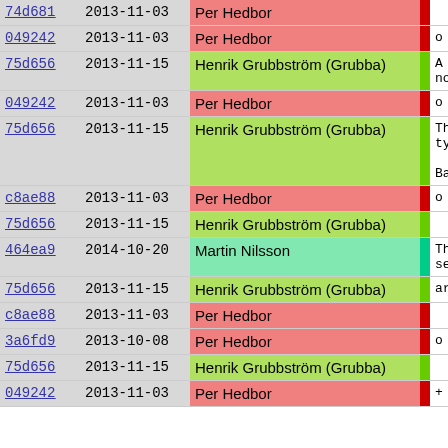| Hash | Date | Author | Bar | Comment |
| --- | --- | --- | --- | --- |
| 74d681 | 2013-11-03 | Per Hedbor | red |  |
| 049242 | 2013-11-03 | Per Hedbor | red | o Lots of au |
| 75d656 | 2013-11-15 | Henrik Grubbström (Grubba) | green | A lot more
now readab |
| 049242 | 2013-11-03 | Per Hedbor | red | o predef::ty |
| 75d656 | 2013-11-15 | Henrik Grubbström (Grubba) | green | This is e
types for

Basically |
| c8ae88 | 2013-11-03 | Per Hedbor | red | o Builtin._g |
| 75d656 | 2013-11-15 | Henrik Grubbström (Grubba) | green |  |
| 464ea9 | 2014-10-20 | Martin Nilsson | teal | This funct
setter, wh |
| 75d656 | 2013-11-15 | Henrik Grubbström (Grubba) | green | argument. |
| c8ae88 | 2013-11-03 | Per Hedbor | red |  |
| 3a6fd9 | 2013-10-08 | Per Hedbor | red | o Parser.XMI |
| 75d656 | 2013-11-15 | Henrik Grubbström (Grubba) | green |  |
| 049242 | 2013-11-03 | Per Hedbor | red | + Several |